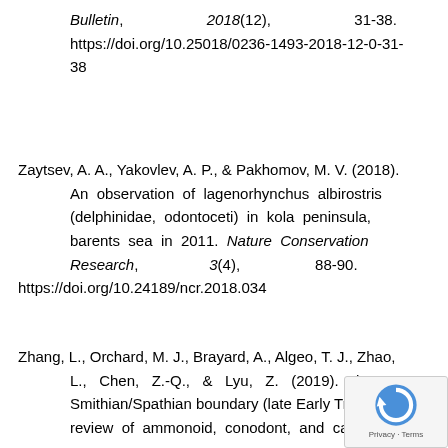Bulletin, 2018(12), 31-38. https://doi.org/10.25018/0236-1493-2018-12-0-31-38
Zaytsev, A. A., Yakovlev, A. P., & Pakhomov, M. V. (2018). An observation of lagenorhynchus albirostris (delphinidae, odontoceti) in kola peninsula, barents sea in 2011. Nature Conservation Research, 3(4), 88-90. https://doi.org/10.24189/ncr.2018.034
Zhang, L., Orchard, M. J., Brayard, A., Algeo, T. J., Zhao, L., Chen, Z.-Q., & Lyu, Z. (2019). The Smithian/Spathian boundary (late Early Tria... review of ammonoid, conodont, and carbon-